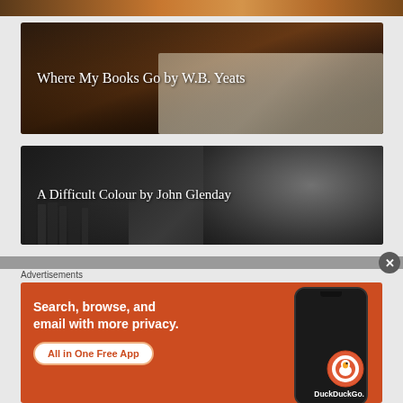[Figure (photo): Partial top strip of a colorful image, cropped]
[Figure (photo): Dark warm-toned photo of an open book with white text overlay]
Where My Books Go by W.B. Yeats
[Figure (photo): Black and white photo of an elderly man near bookshelves with white text overlay]
A Difficult Colour by John Glenday
[Figure (other): Advertisement banner: DuckDuckGo app ad with orange background, text 'Search, browse, and email with more privacy. All in One Free App', phone mockup with DuckDuckGo logo]
Advertisements